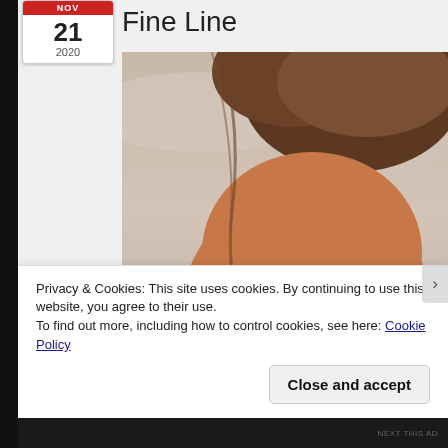[Figure (illustration): Calendar icon showing NOV 21 2020 in a white rounded rectangle with red header]
Fine Line
[Figure (illustration): Digital 3D illustration of a woman's face with brown hair, tawny skin tone, hazel eyes and gold earrings, against a cloudy sky background]
Privacy & Cookies: This site uses cookies. By continuing to use this website, you agree to their use.
To find out more, including how to control cookies, see here: Cookie Policy
Close and accept